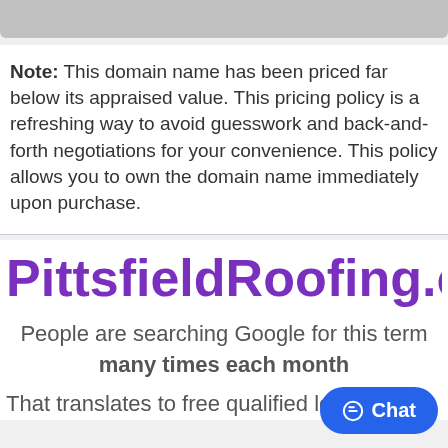[Figure (screenshot): Gray top bar / UI element at the top of the page]
Note: This domain name has been priced far below its appraised value. This pricing policy is a refreshing way to avoid guesswork and back-and-forth negotiations for your convenience. This policy allows you to own the domain name immediately upon purchase.
PittsfieldRoofing.com
People are searching Google for this term many times each month
That translates to free qualified leads for